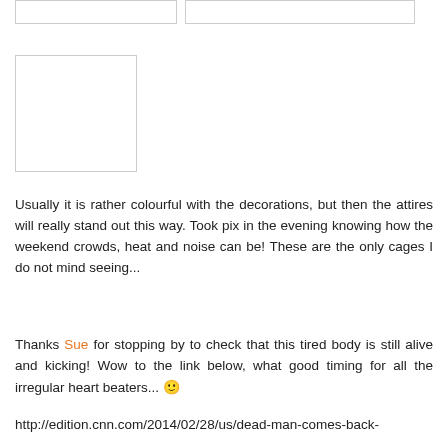[Figure (other): Two empty placeholder boxes at the top of the page side by side]
[Figure (photo): A blank/empty image placeholder box with a light border]
Usually it is rather colourful with the decorations, but then the attires will really stand out this way. Took pix in the evening knowing how the weekend crowds, heat and noise can be! These are the only cages I do not mind seeing...
Thanks Sue for stopping by to check that this tired body is still alive and kicking! Wow to the link below, what good timing for all the irregular heart beaters... 🙂
http://edition.cnn.com/2014/02/28/us/dead-man-comes-back-